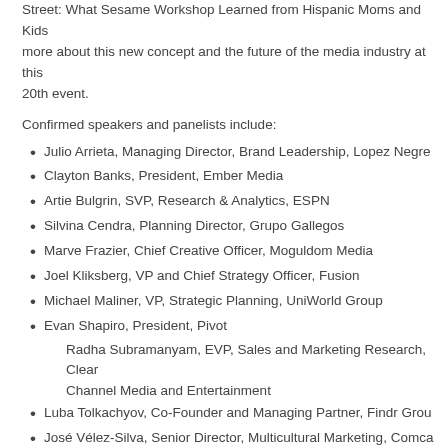Street: What Sesame Workshop Learned from Hispanic Moms and Kids more about this new concept and the future of the media industry at this 20th event.
Confirmed speakers and panelists include:
Julio Arrieta, Managing Director, Brand Leadership, Lopez Negre
Clayton Banks, President, Ember Media
Artie Bulgrin, SVP, Research & Analytics, ESPN
Silvina Cendra, Planning Director, Grupo Gallegos
Marve Frazier, Chief Creative Officer, Moguldom Media
Joel Kliksberg, VP and Chief Strategy Officer, Fusion
Michael Maliner, VP, Strategic Planning, UniWorld Group
Evan Shapiro, President, Pivot
Radha Subramanyam, EVP, Sales and Marketing Research, Clear Channel Media and Entertainment
Luba Tolkachyov, Co-Founder and Managing Partner, Findr Group
José Vélez-Silva, Senior Director, Multicultural Marketing, Comcast
José Villa, President, Sensis